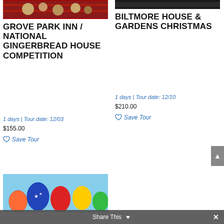[Figure (photo): Photo of a Christmas cake or gingerbread display with red plaid decoration, cropped at top]
GROVE PARK INN / NATIONAL GINGERBREAD HOUSE COMPETITION
1 days | Tour date: 12/03
$155.00
Save Tour
[Figure (photo): Dark image, partially visible, associated with Biltmore Christmas tour]
BILTMORE HOUSE & GARDENS CHRISTMAS
1 days | Tour date: 12/10
$210.00
Save Tour
[Figure (photo): Hot air balloons against blue sky, cropped at bottom]
Share This